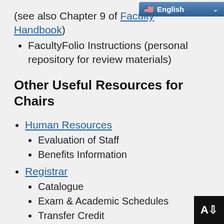(see also Chapter 9 of [Faculty Handbook])
FacultyFolio Instructions (personal repository for review materials)
Other Useful Resources for Chairs
Human Resources
Evaluation of Staff
Benefits Information
Registrar
Catalogue
Exam & Academic Schedules
Transfer Credit